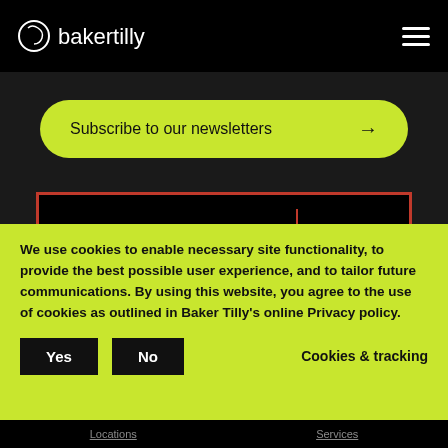bakertilly
Subscribe to our newsletters →
[Figure (logo): Forbes America's Best Large Employers 2022 badge. Black background with red border. Left side: 'AMERICA'S' in white, 'BEST LARGE' in red, 'EMPLOYERS' in white. Right side separated by red vertical bar: 'Forbes' in white italic, '2022' in white on red background.]
We use cookies to enable necessary site functionality, to provide the best possible user experience, and to tailor future communications. By using this website, you agree to the use of cookies as outlined in Baker Tilly's online Privacy policy.
Yes
No
Cookies & tracking
Locations   Services